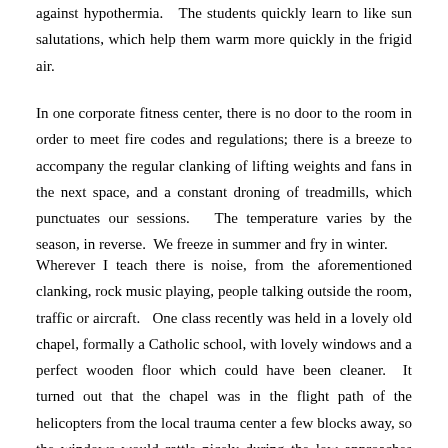against hypothermia.  The students quickly learn to like sun salutations, which help them warm more quickly in the frigid air.
In one corporate fitness center, there is no door to the room in order to meet fire codes and regulations; there is a breeze to accompany the regular clanking of lifting weights and fans in the next space, and a constant droning of treadmills, which punctuates our sessions.  The temperature varies by the season, in reverse.  We freeze in summer and fry in winter.
Wherever I teach there is noise, from the aforementioned clanking, rock music playing, people talking outside the room, traffic or aircraft.  One class recently was held in a lovely old chapel, formally a Catholic school, with lovely windows and a perfect wooden floor which could have been cleaner.  It turned out that the chapel was in the flight path of the helicopters from the local trauma center a few blocks away, so the windows would rattle nicely during the low approaches and departures.  There were helicopters constantly flying above as now and then strangers would wander into the old chapel.